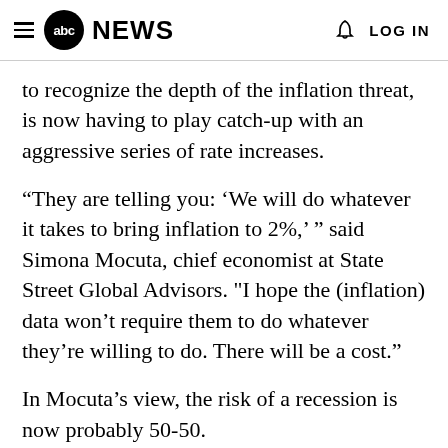abc NEWS  LOG IN
to recognize the depth of the inflation threat, is now having to play catch-up with an aggressive series of rate increases.
“They are telling you: ‘We will do whatever it takes to bring inflation to 2%,’ ” said Simona Mocuta, chief economist at State Street Global Advisors. "I hope the (inflation) data won’t require them to do whatever they’re willing to do. There will be a cost."
In Mocuta’s view, the risk of a recession is now probably 50-50.
“It’s not like there’s no way you can avoid it."